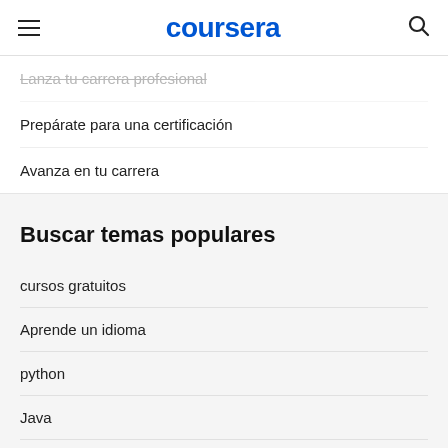coursera
Lanza tu carrera profesional
Prepárate para una certificación
Avanza en tu carrera
Buscar temas populares
cursos gratuitos
Aprende un idioma
python
Java
diseño web
SQL
Cursos gratis